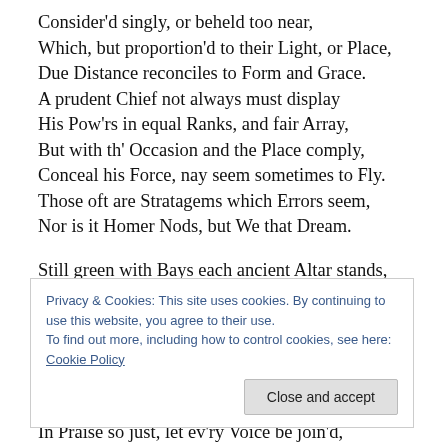Consider'd singly, or beheld too near,
Which, but proportion'd to their Light, or Place,
Due Distance reconciles to Form and Grace.
A prudent Chief not always must display
His Pow'rs in equal Ranks, and fair Array,
But with th' Occasion and the Place comply,
Conceal his Force, nay seem sometimes to Fly.
Those oft are Stratagems which Errors seem,
Nor is it Homer Nods, but We that Dream.
Still green with Bays each ancient Altar stands,
Privacy & Cookies: This site uses cookies. By continuing to use this website, you agree to their use.
To find out more, including how to control cookies, see here: Cookie Policy
Close and accept
In Praise so just, let ev'ry Voice be join'd,